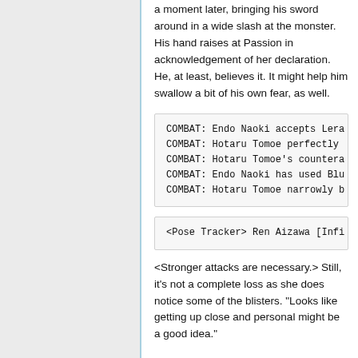a moment later, bringing his sword around in a wide slash at the monster. His hand raises at Passion in acknowledgement of her declaration. He, at least, believes it. It might help him swallow a bit of his own fear, as well.
COMBAT: Endo Naoki accepts Lera
COMBAT: Hotaru Tomoe perfectly
COMBAT: Hotaru Tomoe's countera
COMBAT: Endo Naoki has used Blu
COMBAT: Hotaru Tomoe narrowly b
<Pose Tracker> Ren Aizawa [Infi
<Stronger attacks are necessary.> Still, it's not a complete loss as she does notice some of the blisters. "Looks like getting up close and personal might be a good idea."